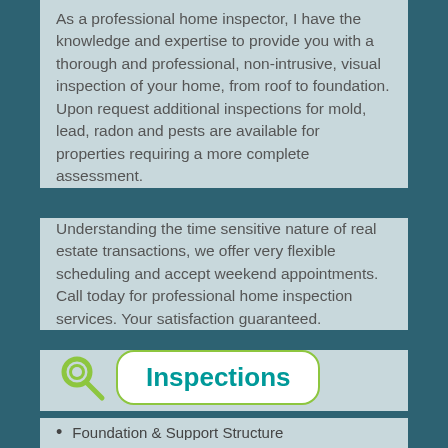As a professional home inspector, I have the knowledge and expertise to provide you with a thorough and professional, non-intrusive, visual inspection of your home, from roof to foundation. Upon request additional inspections for mold, lead, radon and pests are available for properties requiring a more complete assessment.
Understanding the time sensitive nature of real estate transactions, we offer very flexible scheduling and accept weekend appointments. Call today for professional home inspection services. Your satisfaction guaranteed.
[Figure (infographic): Green magnifying glass icon next to a white rounded rectangle badge with teal bold text reading 'Inspections', outlined with a green border]
Foundation & Support Structure
Fireplaces
Roof Systems
Basement Seepage
Safety Controls